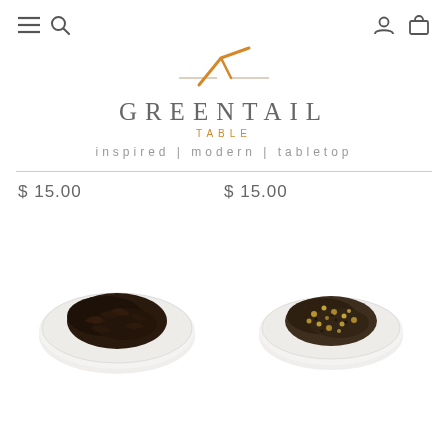navigation icons: menu, search, account, cart
[Figure (logo): Greentail Table logo with orange checkmark/bird above text GREENTAIL TABLE, tagline: inspired | modern | tabletop]
$ 15.00   $ 15.00
[Figure (photo): Two white ceramic scalloped dishes, one containing dark loose leaf tea and the other containing a mixed spice/tea blend with seeds]
[Figure (photo): White ceramic scalloped dish containing mixed spice/tea blend with golden seeds]